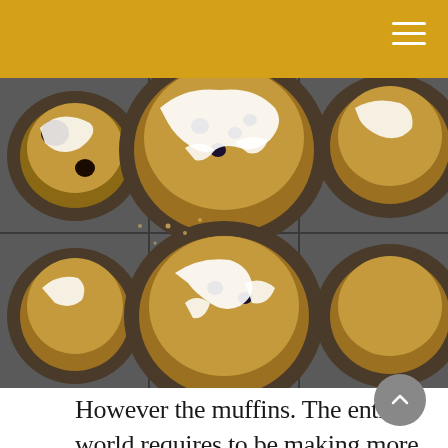[Figure (photo): Close-up overhead photo of blueberry muffins with white glaze/icing drizzled on top, baked in a dark metal muffin tin. Six muffin cups visible with golden-brown tops and glazed blueberries.]
However the muffins. The entire world requires to be making more entire wheat blueberry muffins